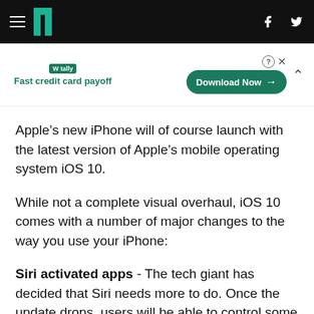HuffPost header navigation with hamburger menu, logo, Facebook and Twitter icons
[Figure (other): Tally advertisement banner: Fast credit card payoff — Download Now button]
Apple's new iPhone will of course launch with the latest version of Apple's mobile operating system iOS 10.
While not a complete visual overhaul, iOS 10 comes with a number of major changes to the way you use your iPhone:
Siri activated apps - The tech giant has decided that Siri needs more to do. Once the update drops, users will be able to control some big